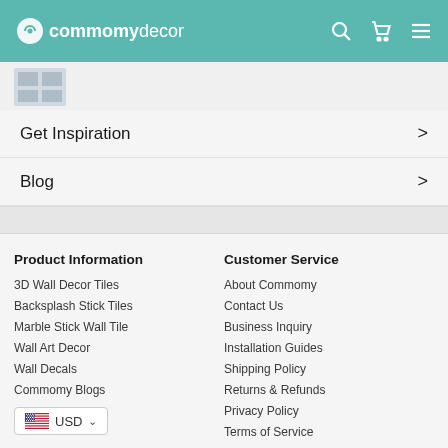commomydecor
[Figure (screenshot): Small thumbnail image of a product (tiles)]
Get Inspiration >
Blog >
Product Information
3D Wall Decor Tiles
Backsplash Stick Tiles
Marble Stick Wall Tile
Wall Art Decor
Wall Decals
Commomy Blogs
Customer Service
About Commomy
Contact Us
Business Inquiry
Installation Guides
Shipping Policy
Returns & Refunds
Privacy Policy
Terms of Service